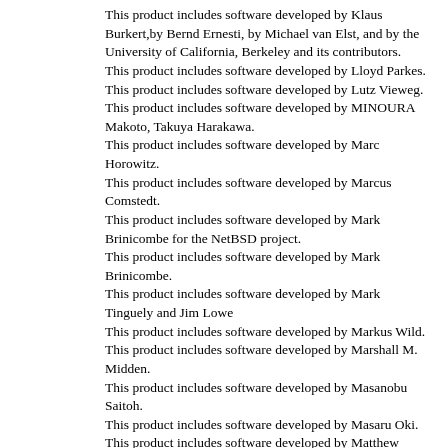This product includes software developed by Klaus Burkert,by Bernd Ernesti, by Michael van Elst, and by the University of California, Berkeley and its contributors.
This product includes software developed by Lloyd Parkes.
This product includes software developed by Lutz Vieweg.
This product includes software developed by MINOURA Makoto, Takuya Harakawa.
This product includes software developed by Marc Horowitz.
This product includes software developed by Marcus Comstedt.
This product includes software developed by Mark Brinicombe for the NetBSD project.
This product includes software developed by Mark Brinicombe.
This product includes software developed by Mark Tinguely and Jim Lowe
This product includes software developed by Markus Wild.
This product includes software developed by Marshall M. Midden.
This product includes software developed by Masanobu Saitoh.
This product includes software developed by Masaru Oki.
This product includes software developed by Matthew Fredette.
This product includes software developed by Matt DeBergalis.
This product includes software developed by Michael Smith.
This product includes software developed by Microsoft.
This product includes software developed by Mike Pritchard.
This product includes software developed by Mike Pritchard and contributors.
This product includes software developed by Minoura Makoto.
This product includes software developed by Niels Provos.